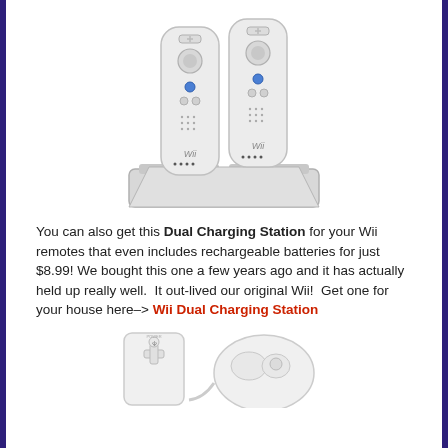[Figure (photo): Wii Dual Charging Station with two white Wii remotes inserted, sitting on a white angled dock/stand]
You can also get this Dual Charging Station for your Wii remotes that even includes rechargeable batteries for just $8.99! We bought this one a few years ago and it has actually held up really well.  It out-lived our original Wii!  Get one for your house here–> Wii Dual Charging Station
[Figure (photo): Small white Wii accessories: a Wii sensor bar or nunchuk adapter and a white Wii nunchuk controller, partially visible at bottom of page]